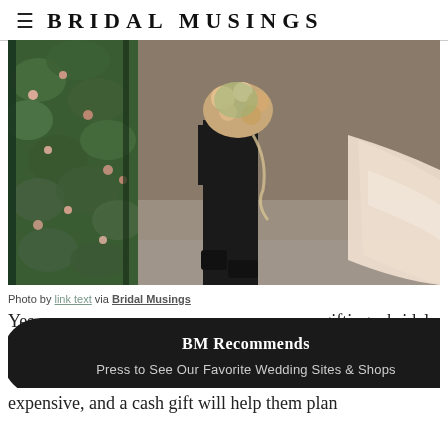BRIDAL MUSINGS
[Figure (photo): Wedding couple walking outdoors. Groom in black suit holding a floral bouquet with flowing ribbon, bride in blush/champagne gown visible at right edge. Background of green floral wall/gate.]
Photo by link text via Bridal Musings
Yes, giving a gift to the bride and groom is traditional but actually a lot of couples prefer cash. A honeymoon is expensive, and a cash gift will help them plan...
[Figure (infographic): Dark rounded pill/banner overlay reading 'BM Recommends' with subtitle 'Press to See Our Favorite Wedding Sites & Shops']